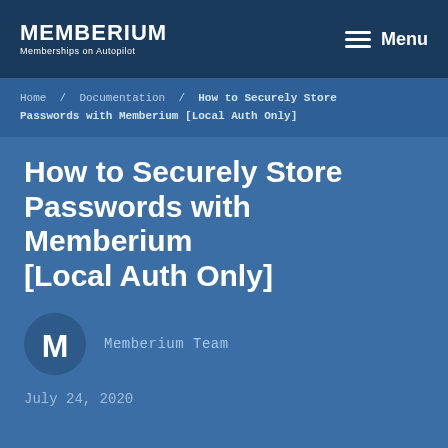MEMBERIUM Memberships on Autopilot | Menu
Home / Documentation / How to Securely Store Passwords with Memberium [Local Auth Only]
How to Securely Store Passwords with Memberium [Local Auth Only]
Memberium Team
July 24, 2020